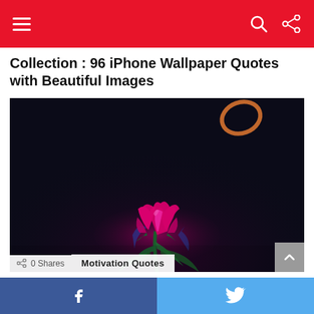Navigation bar with hamburger menu, search and share icons
Collection : 96 iPhone Wallpaper Quotes with Beautiful Images
[Figure (photo): A vibrant pink/magenta rose bud with blue and green tinted leaves against a dark near-black background, with a glowing orange ring shape in the upper right corner]
0 Shares   Motivation Quotes
Collection : 70 Happy Morning Quotes with
Facebook and Twitter share buttons